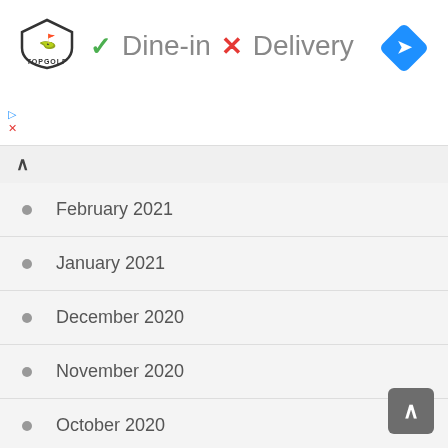Dine-in  ✓  ×  Delivery
February 2021
January 2021
December 2020
November 2020
October 2020
September 2020
August 2020